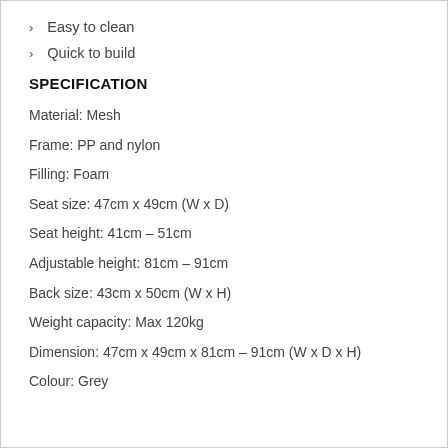Easy to clean
Quick to build
SPECIFICATION
Material: Mesh
Frame: PP and nylon
Filling: Foam
Seat size: 47cm x 49cm (W x D)
Seat height: 41cm – 51cm
Adjustable height: 81cm – 91cm
Back size: 43cm x 50cm (W x H)
Weight capacity: Max 120kg
Dimension: 47cm x 49cm x 81cm – 91cm (W x D x H)
Colour: Grey